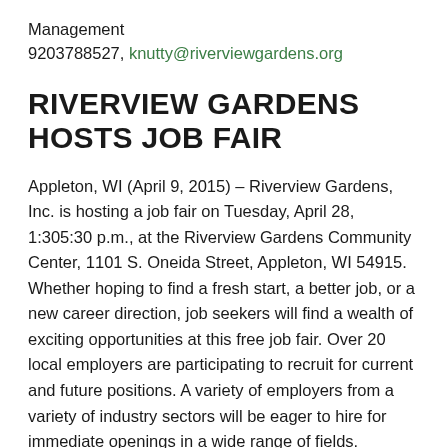Management
9203788527, knutty@riverviewgardens.org
RIVERVIEW GARDENS HOSTS JOB FAIR
Appleton, WI (April 9, 2015) – Riverview Gardens, Inc. is hosting a job fair on Tuesday, April 28, 1:305:30 p.m., at the Riverview Gardens Community Center, 1101 S. Oneida Street, Appleton, WI 54915. Whether hoping to find a fresh start, a better job, or a new career direction, job seekers will find a wealth of exciting opportunities at this free job fair. Over 20 local employers are participating to recruit for current and future positions. A variety of employers from a variety of industry sectors will be eager to hire for immediate openings in a wide range of fields. Additionally, individuals attending have the benefit of connecting with a number of job resources, including interview preparation